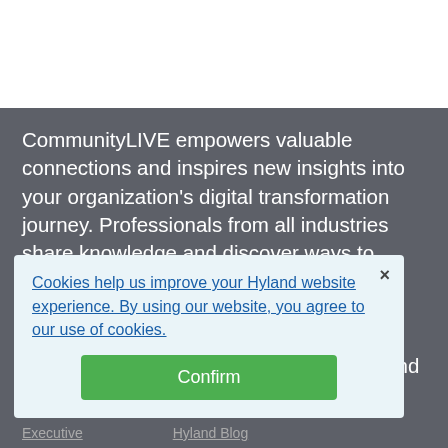CommunityLIVE empowers valuable connections and inspires new insights into your organization's digital transformation journey. Professionals from all industries share knowledge and discover ways to intelligently adapt to a continually evolving business environment. Hyland helps organizations meet today's challenges through innovative technology, services and cloud-based solutions that support their agility well into the future.
Cookies help us improve your Hyland website experience. By using our website, you agree to our use of cookies.
Confirm
Executive   Hyland Blog